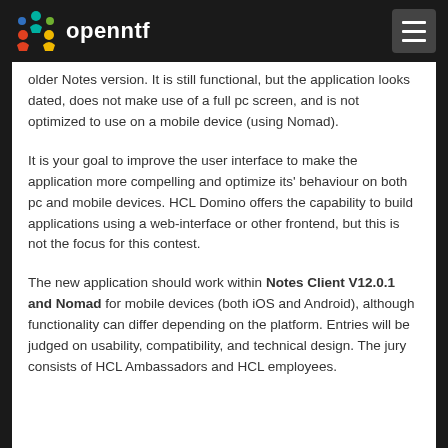openntf
older Notes version. It is still functional, but the application looks dated, does not make use of a full pc screen, and is not optimized to use on a mobile device (using Nomad).
It is your goal to improve the user interface to make the application more compelling and optimize its' behaviour on both pc and mobile devices. HCL Domino offers the capability to build applications using a web-interface or other frontend, but this is not the focus for this contest.
The new application should work within Notes Client V12.0.1 and Nomad for mobile devices (both iOS and Android), although functionality can differ depending on the platform. Entries will be judged on usability, compatibility, and technical design. The jury consists of HCL Ambassadors and HCL employees.